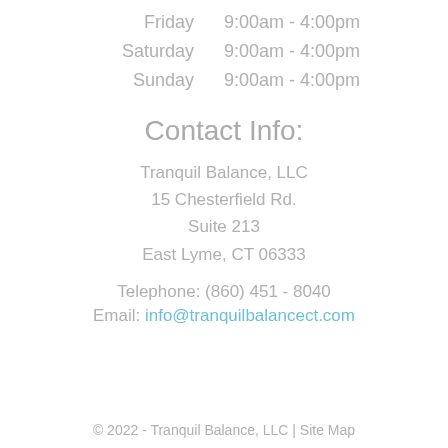Friday   9:00am - 4:00pm
Saturday   9:00am - 4:00pm
Sunday   9:00am - 4:00pm
Contact Info:
Tranquil Balance, LLC
15 Chesterfield Rd.
Suite 213
East Lyme, CT 06333
Telephone: (860) 451 - 8040
Email: info@tranquilbalancect.com
© 2022 - Tranquil Balance, LLC | Site Map